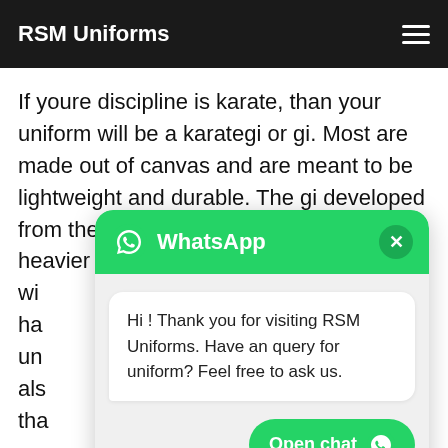RSM Uniforms
If youre discipline is karate, than your uniform will be a karategi or gi. Most are made out of canvas and are meant to be lightweight and durable. The gi developed from the Judo uniform, which s slightly heavier and more fitte wi ha un als tha
[Figure (screenshot): WhatsApp chat popup with green header showing WhatsApp logo and name, a close button, a message bubble saying 'Hi ! Thank you for visiting RSM Uniforms. Have an query for uniform? Feel free to ask us.', and an 'Open chat' button at the bottom right.]